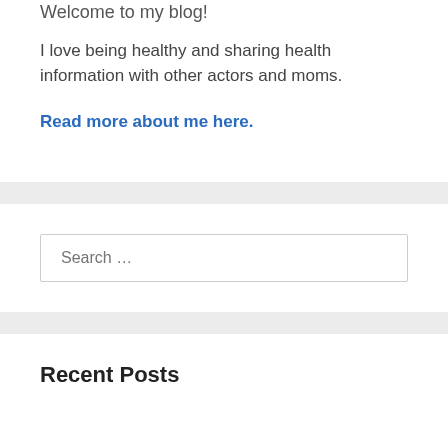Welcome to my blog!
I love being healthy and sharing health information with other actors and moms.
Read more about me here.
Search …
Recent Posts